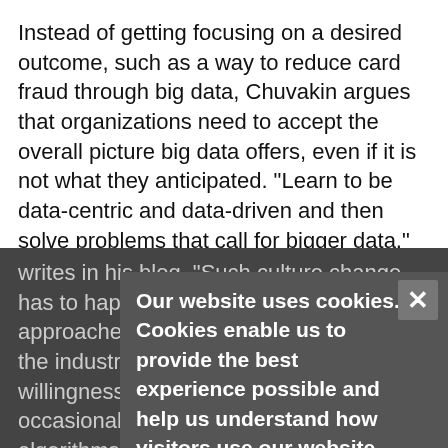Instead of getting focusing on a desired outcome, such as a way to reduce card fraud through big data, Chuvakin argues that organizations need to accept the overall picture big data offers, even if it is not what they anticipated. "Learn to be data-centric and data-driven and then solve problems that call for bigger data," Chuvakin
writes in his blog. "Such culture change has to happen for the big data approaches to become pervasive across the industry. And yes, this includes willingness to explore, follow leads, and occasionally arrive at dead ends and algorithms that don't work."
Utah-based Zions Bank is one of the leaders in using big data to help detect fraud, Chuvakin notes. "Not many organizations are using data like Zions Bank," he says. "It stems from doing the right things for a nearly a decade, and that's the kind of experimentation most organizations
Our website uses cookies. Cookies enable us to provide the best experience possible and help us understand how visitors use our website. By browsing databreachtoday.com, you agree to our use of cookies.